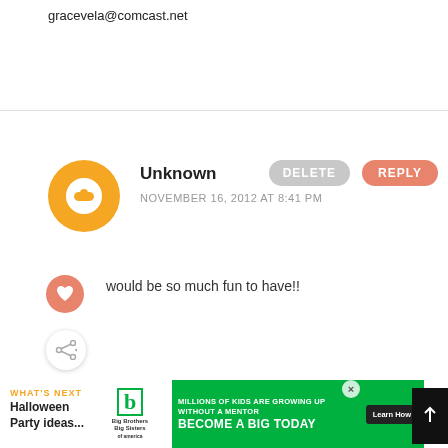gracevela@comcast.net
Unknown
NOVEMBER 16, 2012 AT 8:41 PM
would be so much fun to have!!
WHAT'S NEXT → Halloween Party ideas...
[Figure (screenshot): Advertisement banner: Big Brothers Big Sisters - Millions of kids are growing up without a mentor. Become a Big Today. Learn How.]